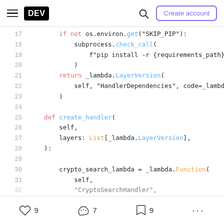DEV — Create account
[Figure (screenshot): Code snippet showing Python code lines 17–32 with syntax highlighting. Keywords in red/pink (if, not, return, def), method names in blue (check_call, LayerVersion, create_handler, Function), and type names in orange (List, LayerVersion, Function).]
9 likes · 7 reactions · 9 saves · more options